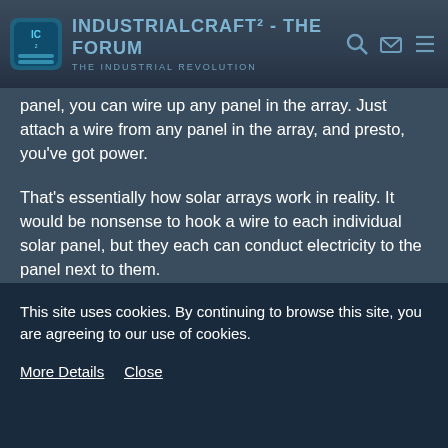IndustrialCraft² - The Forum — The Industrial Revolution
panel, you can wire up any panel in the array. Just attach a wire from any panel in the array, and presto, you've got power.
That's essentially how solar arrays work in reality. It would be nonsense to hook a wire to each individual solar panel, but they each can conduct electricity to the panel next to them.
Also, to compensate for the lack of extra wiring in such a system, you could make it an advanced solar panel, crafted from a solar panel and some tin or copper wire (also inspired from reality). It would output the same amount of power, but only it would be capable of connecting with others of it's kind.
This site uses cookies. By continuing to browse this site, you are agreeing to our use of cookies. More Details Close